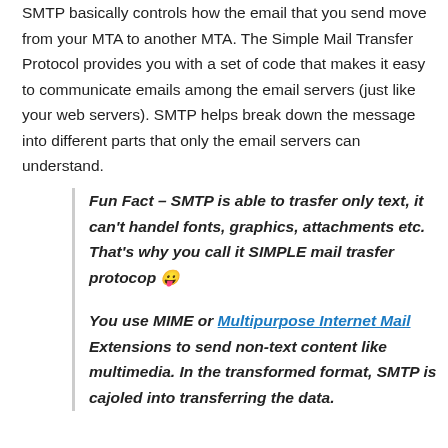SMTP basically controls how the email that you send move from your MTA to another MTA. The Simple Mail Transfer Protocol provides you with a set of code that makes it easy to communicate emails among the email servers (just like your web servers). SMTP helps break down the message into different parts that only the email servers can understand.
Fun Fact – SMTP is able to trasfer only text, it can't handel fonts, graphics, attachments etc. That's why you call it SIMPLE mail trasfer protocop 😛
You use MIME or Multipurpose Internet Mail Extensions to send non-text content like multimedia. In the transformed format, SMTP is cajoled into transferring the data.